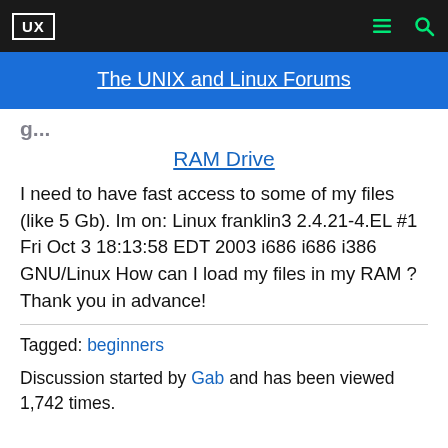UX — The UNIX and Linux Forums
RAM Drive
I need to have fast access to some of my files (like 5 Gb). Im on: Linux franklin3 2.4.21-4.EL #1 Fri Oct 3 18:13:58 EDT 2003 i686 i686 i386 GNU/Linux How can I load my files in my RAM ? Thank you in advance!
Tagged: beginners
Discussion started by Gab and has been viewed 1,742 times.